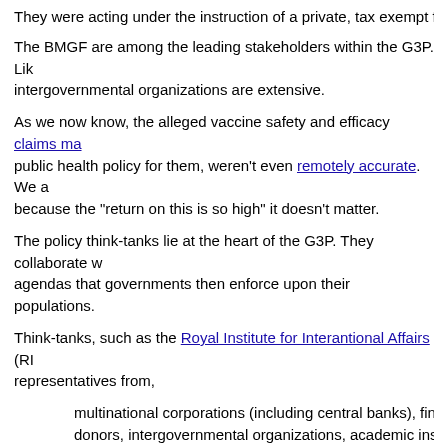They were acting under the instruction of a private, tax exempt fou...
The BMGF are among the leading stakeholders within the G3P. Lik... intergovernmental organizations are extensive.
As we now know, the alleged vaccine safety and efficacy claims ma... public health policy for them, weren't even remotely accurate. We a... because the "return on this is so high" it doesn't matter.
The policy think-tanks lie at the heart of the G3P. They collaborate w... agendas that governments then enforce upon their populations.
Think-tanks, such as the Royal Institute for Interantional Affairs (RI... representatives from,
multinational corporations (including central banks), financial... donors, intergovernmental organizations, academic institutio...
For example, Chatham House members include,
the United Nations, the Bill and Melinda Gates Foundation, th... Astrazeneca, GlaxoSmithKline, Bloomberg, The Guardian, Th... Union, BAE systems, Goldman Sachs, De Beers, BlackRock... Kings College London, the London School of Economics (LS... around the world.
The list goes on...